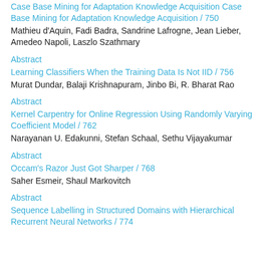Case Base Mining for Adaptation Knowledge Acquisition / 750
Mathieu d'Aquin, Fadi Badra, Sandrine Lafrogne, Jean Lieber, Amedeo Napoli, Laszlo Szathmary
Abstract
Learning Classifiers When the Training Data Is Not IID / 756
Murat Dundar, Balaji Krishnapuram, Jinbo Bi, R. Bharat Rao
Abstract
Kernel Carpentry for Online Regression Using Randomly Varying Coefficient Model / 762
Narayanan U. Edakunni, Stefan Schaal, Sethu Vijayakumar
Abstract
Occam's Razor Just Got Sharper / 768
Saher Esmeir, Shaul Markovitch
Abstract
Sequence Labelling in Structured Domains with Hierarchical Recurrent Neural Networks / 774